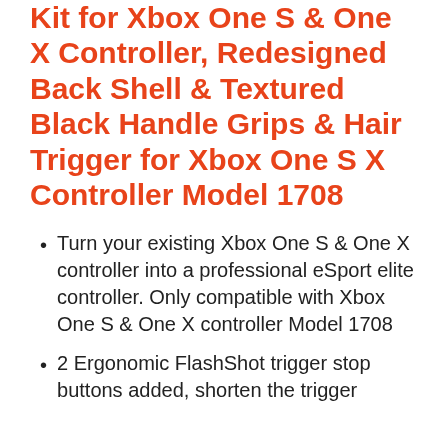Kit for Xbox One S & One X Controller, Redesigned Back Shell & Textured Black Handle Grips & Hair Trigger for Xbox One S X Controller Model 1708
Turn your existing Xbox One S & One X controller into a professional eSport elite controller. Only compatible with Xbox One S & One X controller Model 1708
2 Ergonomic FlashShot trigger stop buttons added, shorten the trigger